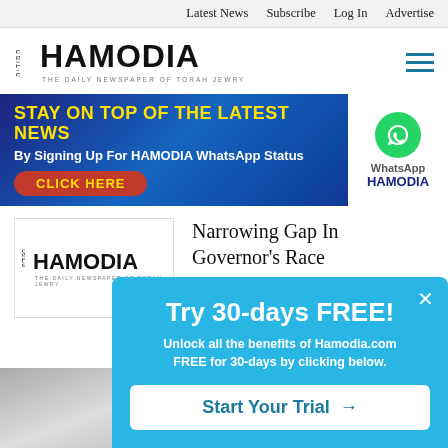Latest News  Subscribe  Log In  Advertise
[Figure (logo): Hamodia newspaper logo with Hebrew text and tagline THE DAILY NEWSPAPER OF TORAH JEWRY]
[Figure (infographic): Ad banner: STAY ON TOP OF THE LATEST NEWS By Signing Up For HAMODIA WhatsApp Status CLICK HERE, with WhatsApp logo and HAMODIA branding on white panel]
[Figure (logo): Hamodia logo thumbnail for article card]
Narrowing Gap In Governor's Race
9/3/2022
[Figure (photo): Partial grey/white photo visible at bottom left]
Try 30-days FREE! Unlock all the benefits of Hamodia.com FREE for 30-days by clicking below. Start Your Trial →